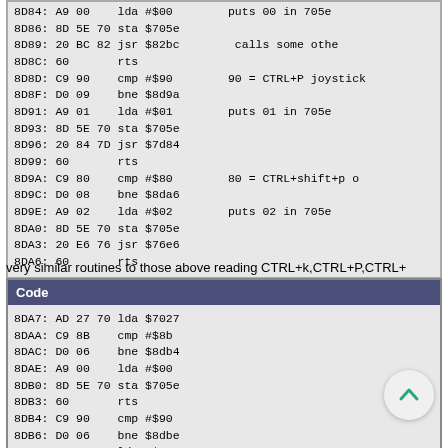8D84: A9 00    lda #$00        puts 00 in 705e
8D86: 8D 5E 70 sta $705e
8D89: 20 BC 82 jsr $82bc        calls some othe
8D8C: 60       rts
8D8D: C9 90    cmp #$90        90 = CTRL+P joystick
8D8F: D0 09    bne $8d9a
8D91: A9 01    lda #$01        puts 01 in 705e
8D93: 8D 5E 70 sta $705e
8D96: 20 84 7D jsr $7d84
8D99: 60       rts
8D9A: C9 80    cmp #$80        80 = CTRL+shift+p o
8D9C: D0 08    bne $8da6
8D9E: A9 02    lda #$02        puts 02 in 705e
8DA0: 8D 5E 70 sta $705e
8DA3: 20 E6 76 jsr $76e6
8DA6: 60       rts
very similar routines to those above reading CTRL+k,CTRL+P,CTRL+
Code
8DA7: AD 27 70 lda $7027
8DAA: C9 8B    cmp #$8b
8DAC: D0 06    bne $8db4
8DAE: A9 00    lda #$00
8DB0: 8D 5E 70 sta $705e
8DB3: 60       rts
8DB4: C9 90    cmp #$90
8DB6: D0 06    bne $8dbe
8DB8: A9 01    lda #$01
8DBA: 8D 5E 70 sta $705e
8DBD: 60       rts